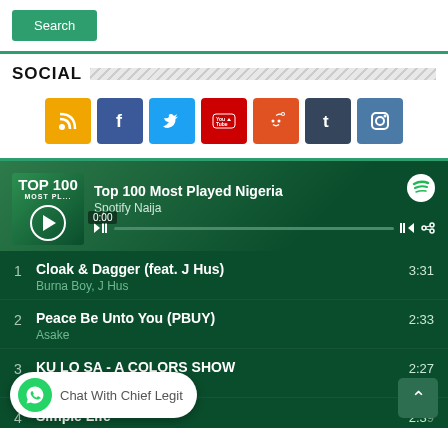[Figure (screenshot): Search button (green, rounded)]
SOCIAL
[Figure (infographic): Row of 7 social media icons: RSS (orange), Facebook (blue), Twitter (light blue), YouTube (red), Reddit (orange-red), Tumblr (dark blue), Instagram (medium blue)]
[Figure (screenshot): Spotify embed player showing 'Top 100 Most Played Nigeria' playlist by Spotify Naija with playback controls and progress bar]
1   Cloak & Dagger (feat. J Hus)   3:31
    Burna Boy, J Hus
2   Peace Be Unto You (PBUY)   2:33
    Asake
3   KU LO SA - A COLORS SHOW   2:27
    Oylade
4   Simple Life   2:39
Chat With Chief Legit